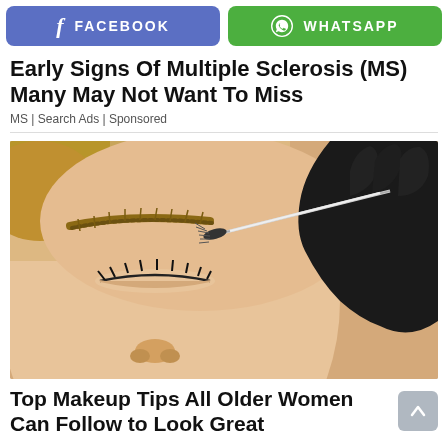[Figure (screenshot): Facebook share button (blue, rounded rectangle) with 'f' icon and 'FACEBOOK' label]
[Figure (screenshot): WhatsApp share button (green, rounded rectangle) with WhatsApp icon and 'WHATSAPP' label]
Early Signs Of Multiple Sclerosis (MS) Many May Not Want To Miss
MS | Search Ads | Sponsored
[Figure (photo): Close-up photo of a woman with closed eyes having her eyebrow groomed with a spoolie brush by a gloved hand (black glove). Beauty/makeup treatment scene.]
Top Makeup Tips All Older Women Can Follow to Look Great